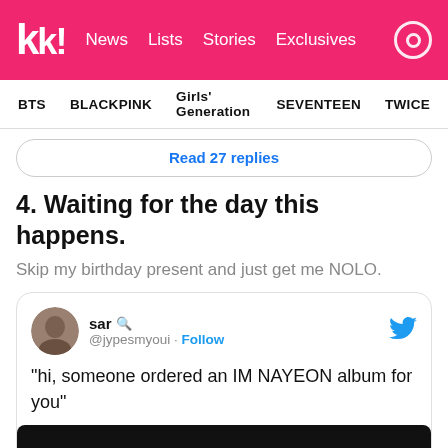kk! News Lists Stories Exclusives
BTS  BLACKPINK  Girls' Generation  SEVENTEEN  TWICE
Read 27 replies
4. Waiting for the day this happens.
Skip my birthday present and just get me NOLO.
[Figure (screenshot): Embedded tweet from @jypesmyoui (sar) with magnifier emoji, Follow button, Twitter bird icon. Tweet text: "hi, someone ordered an IM NAYEON album for you". Below is a black image thumbnail.]